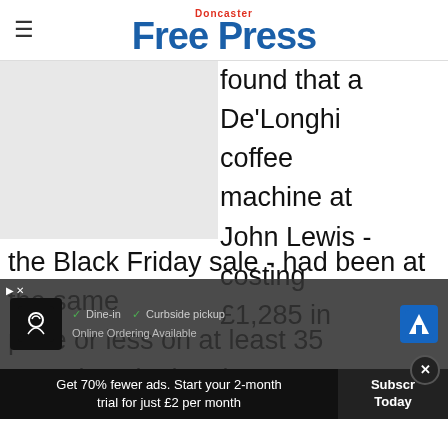Doncaster Free Press
[Figure (photo): Placeholder image (light grey rectangle), product photo not visible]
found that a De'Longhi coffee machine at John Lewis - costing £1,285 in the Black Friday sale - had been at the same price or less on at least 35 occasions in the six mont... £1,200 on several days in May and June 2019...
[Figure (other): Advertisement overlay: Dine-in / Curbside pickup / Online Ordering Available ad with cook icon and navigation icon]
Get 70% fewer ads. Start your 2-month trial for just £2 per month
Subscribe Today